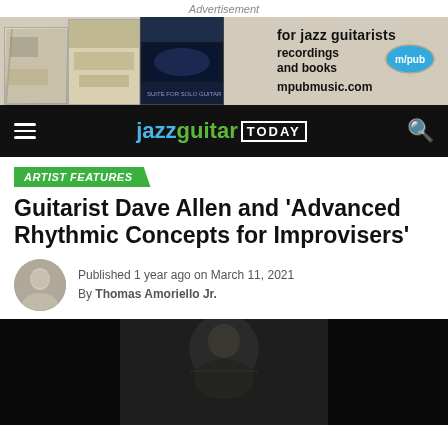Advertisement
[Figure (photo): Advertisement banner for mpubmusic.com showing jazz guitar books and recordings with text 'for jazz guitarists', 'recordings and books', 'm/pub', 'mpubmusic.com']
[Figure (logo): Jazz Guitar Today navigation bar with hamburger menu, logo text 'jazzguitar TODAY', and search icon on black background]
ARTIST FEATURES
Guitarist Dave Allen and ‘Advanced Rhythmic Concepts for Improvisers’
Published 1 year ago on March 11, 2021
By Thomas Amoriello Jr.
[Figure (photo): Black and white photograph of a man (Dave Allen) looking downward, partial view of face and upper body against dark background]